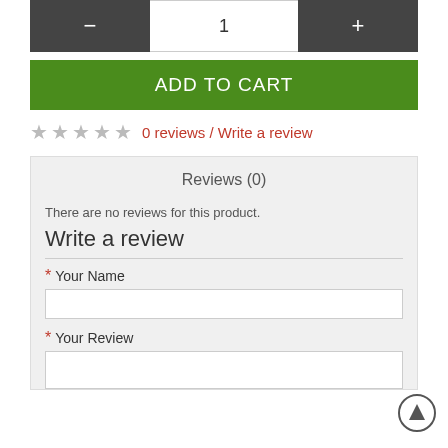- 1 +
ADD TO CART
0 reviews / Write a review
Reviews (0)
There are no reviews for this product.
Write a review
* Your Name
* Your Review